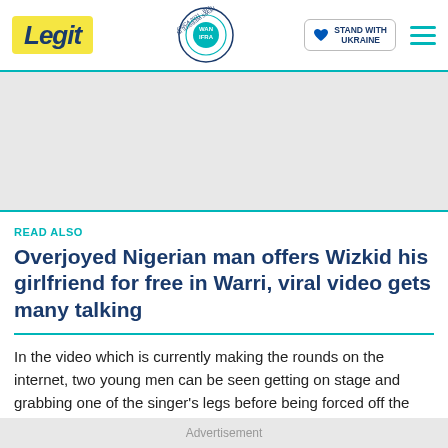Legit | WAN IFRA 2021 Best News Website in Africa | Stand with Ukraine
[Figure (other): Gray advertisement banner area]
READ ALSO
Overjoyed Nigerian man offers Wizkid his girlfriend for free in Warri, viral video gets many talking
In the video which is currently making the rounds on the internet, two young men can be seen getting on stage and grabbing one of the singer's legs before being forced off the stage by bouncers.
Advertisement